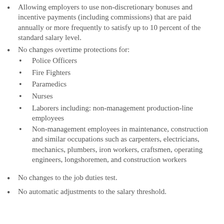Allowing employers to use non-discretionary bonuses and incentive payments (including commissions) that are paid annually or more frequently to satisfy up to 10 percent of the standard salary level.
No changes overtime protections for:
Police Officers
Fire Fighters
Paramedics
Nurses
Laborers including: non-management production-line employees
Non-management employees in maintenance, construction and similar occupations such as carpenters, electricians, mechanics, plumbers, iron workers, craftsmen, operating engineers, longshoremen, and construction workers
No changes to the job duties test.
No automatic adjustments to the salary threshold.